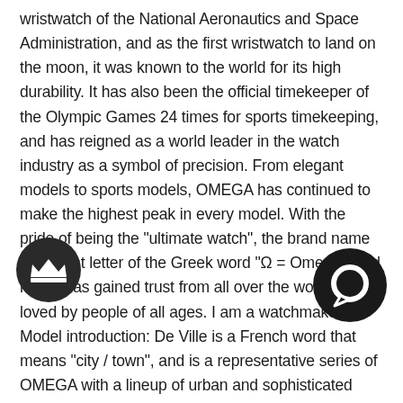wristwatch of the National Aeronautics and Space Administration, and as the first wristwatch to land on the moon, it was known to the world for its high durability. It has also been the official timekeeper of the Olympic Games 24 times for sports timekeeping, and has reigned as a world leader in the watch industry as a symbol of precision. From elegant models to sports models, OMEGA has continued to make the highest peak in every model. With the pride of being the "ultimate watch", the brand name is the last letter of the Greek word "Ω = Omega", and now it has gained trust from all over the world and is loved by people of all ages. I am a watchmaker. Model introduction: De Ville is a French word that means "city / town", and is a representative series of OMEGA with a lineup of urban and sophisticated dress watches. Originally released as "Seamaster de Ville" as one line in the Seamaster, it gained popularity as a highly practical watch with a calendar function on a flat windshield, and the Seamaster independent from Omega's 4th series "De Ville" selected as an original line that is not only designed but also practical and also jewelry. The "De Ville" series features a wide range of dress functions, and its originality makes it the most OMEGA-like. It is now a popular
[Figure (illustration): Dark circular icon with a crown symbol (chat/support UI element) in the lower-left area]
[Figure (illustration): Dark circular icon with a speech bubble / chat symbol (UI element) in the lower-right area]